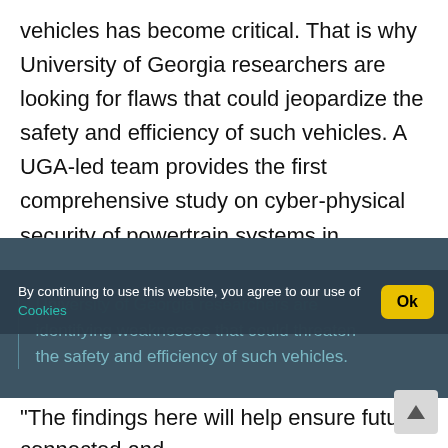vehicles has become critical. That is why University of Georgia researchers are looking for flaws that could jeopardize the safety and efficiency of such vehicles. A UGA-led team provides the first comprehensive study on cyber-physical security of powertrain systems in connected and automated electric vehicles, or CAEVs, in a new paper published in the IEEE Journal of Emerging and Selected Topics in Power Electronics.
By continuing to use this website, you agree to our use of Cookies
University of Georgia researchers are identifying weaknesses that could threaten the safety and efficiency of such vehicles.
"The findings here will help ensure future connected and